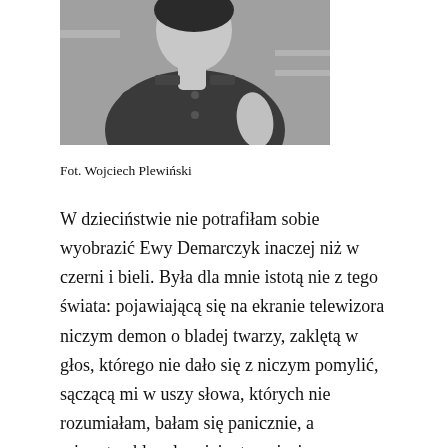[Figure (photo): Black and white photograph of a woman in a dark buttoned jacket, seated, with one hand resting, upper torso and hands visible.]
Fot. Wojciech Plewiński
W dzieciństwie nie potrafiłam sobie wyobrazić Ewy Demarczyk inaczej niż w czerni i bieli. Była dla mnie istotą nie z tego świata: pojawiającą się na ekranie telewizora niczym demon o bladej twarzy, zaklętą w głos, którego nie dało się z niczym pomylić, sączącą mi w uszy słowa, których nie rozumiałam, bałam się panicznie, a mimo to chłonęłam jej wtargnięcie.